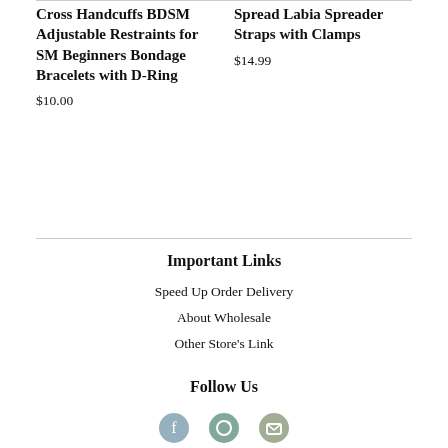Cross Handcuffs BDSM Adjustable Restraints for SM Beginners Bondage Bracelets with D-Ring
$10.00
Spread Labia Spreader Straps with Clamps
$14.99
Important Links
Speed Up Order Delivery
About Wholesale
Other Store's Link
Follow Us